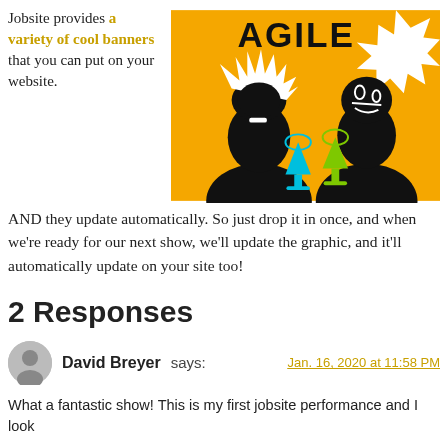Jobsite provides a variety of cool banners that you can put on your website.
[Figure (illustration): Orange background banner image with the bold text 'AGILE' at top, two silhouetted figures (one with wild white hair, one with a face illustration) and colored wine glasses (blue and green) against an orange background with a burst/star shape.]
AND they update automatically. So just drop it in once, and when we're ready for our next show, we'll update the graphic, and it'll automatically update on your site too!
2 Responses
David Breyer says:
Jan. 16, 2020 at 11:58 PM
What a fantastic show! This is my first jobsite performance and I look